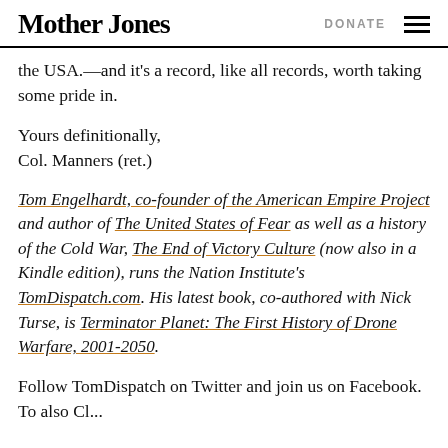Mother Jones   DONATE
the USA.—and it's a record, like all records, worth taking some pride in.
Yours definitionally,
Col. Manners (ret.)
Tom Engelhardt, co-founder of the American Empire Project and author of The United States of Fear as well as a history of the Cold War, The End of Victory Culture (now also in a Kindle edition), runs the Nation Institute's TomDispatch.com. His latest book, co-authored with Nick Turse, is Terminator Planet: The First History of Drone Warfare, 2001-2050.
Follow TomDispatch on Twitter and join us on Facebook. To also Cl...